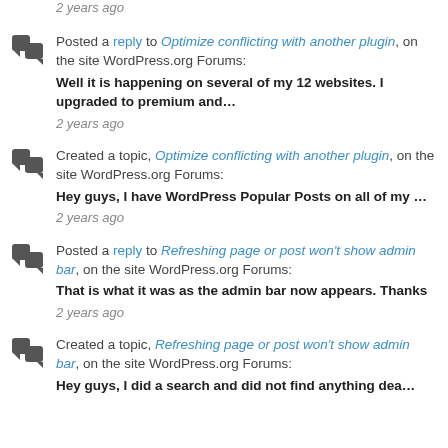2 years ago
Posted a reply to Optimize conflicting with another plugin, on the site WordPress.org Forums:
Well it is happening on several of my 12 websites. I upgraded to premium and…
2 years ago
Created a topic, Optimize conflicting with another plugin, on the site WordPress.org Forums:
Hey guys, I have WordPress Popular Posts on all of my …
2 years ago
Posted a reply to Refreshing page or post won't show admin bar, on the site WordPress.org Forums:
That is what it was as the admin bar now appears. Thanks
2 years ago
Created a topic, Refreshing page or post won't show admin bar, on the site WordPress.org Forums:
Hey guys, I did a search and did not find anything dea…